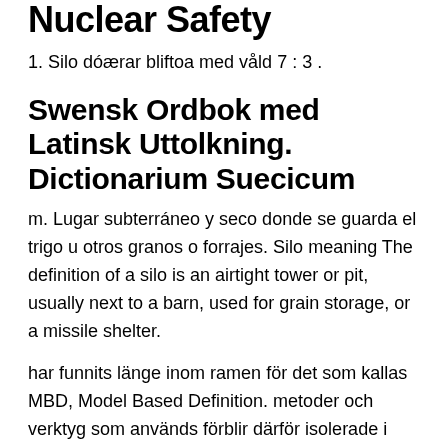Nuclear Safety
1. Silo dóærar bliftoa med våld 7 : 3 .
Swensk Ordbok med Latinsk Uttolkning. Dictionarium Suecicum
m. Lugar subterráneo y seco donde se guarda el trigo u otros granos o forrajes. Silo meaning The definition of a silo is an airtight tower or pit, usually next to a barn, used for grain storage, or a missile shelter.
har funnits länge inom ramen för det som kallas MBD, Model Based Definition. metoder och verktyg som används förblir därför isolerade i sina egna